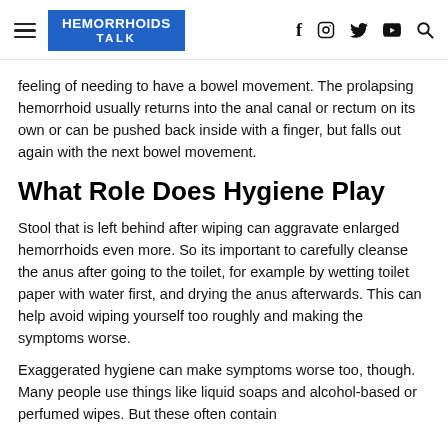HEMORRHOIDS TALK
feeling of needing to have a bowel movement. The prolapsing hemorrhoid usually returns into the anal canal or rectum on its own or can be pushed back inside with a finger, but falls out again with the next bowel movement.
What Role Does Hygiene Play
Stool that is left behind after wiping can aggravate enlarged hemorrhoids even more. So its important to carefully cleanse the anus after going to the toilet, for example by wetting toilet paper with water first, and drying the anus afterwards. This can help avoid wiping yourself too roughly and making the symptoms worse.
Exaggerated hygiene can make symptoms worse too, though. Many people use things like liquid soaps and alcohol-based or perfumed wipes. But these often contain